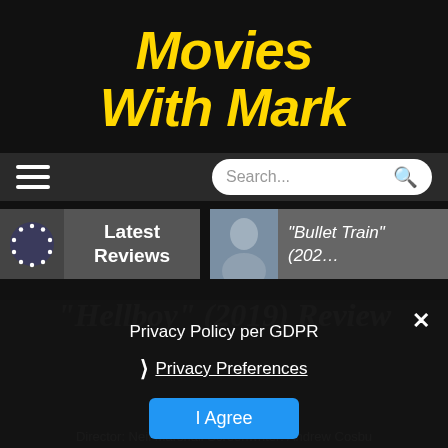Movies With Mark
Navigation bar with hamburger menu and Search box
Latest Reviews
“Bullet Train” (202…
“Hellboy” (2019) Review
Privacy Policy per GDPR
› Privacy Preferences
I Agree
Director: Neil Marshall Screenwriter: Andrew Cosbu